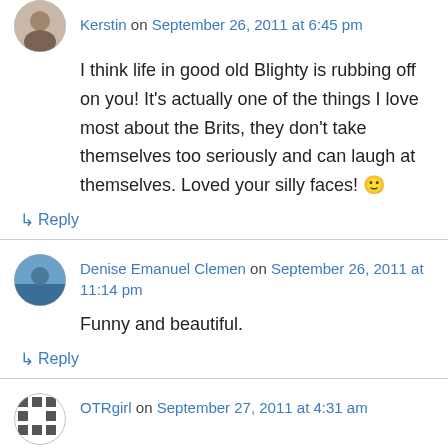[Figure (illustration): Circular avatar of Kerstin (top left, partially visible)]
Kerstin on September 26, 2011 at 6:45 pm
I think life in good old Blighty is rubbing off on you! It's actually one of the things I love most about the Brits, they don't take themselves too seriously and can laugh at themselves. Loved your silly faces! 🙂
↳ Reply
[Figure (illustration): Circular avatar of Denise Emanuel Clemen (beach/water scene)]
Denise Emanuel Clemen on September 26, 2011 at 11:14 pm
Funny and beautiful.
↳ Reply
[Figure (illustration): Circular avatar of OTRgirl (decorative pattern)]
OTRgirl on September 27, 2011 at 4:31 am